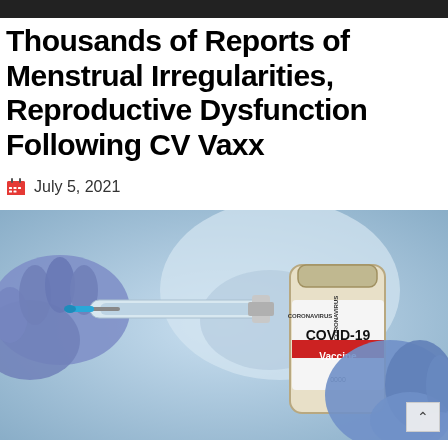Thousands of Reports of Menstrual Irregularities, Reproductive Dysfunction Following CV Vaxx
July 5, 2021
[Figure (photo): Gloved hands holding a syringe and a vial labeled CORONAVIRUS COVID-19 Vaccine, with a blurred background showing a person wearing a face mask.]